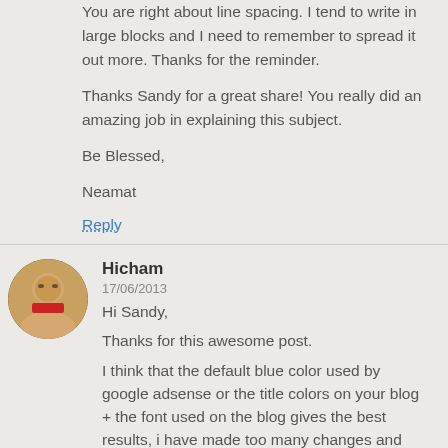You are right about line spacing. I tend to write in large blocks and I need to remember to spread it out more. Thanks for the reminder.
Thanks Sandy for a great share! You really did an amazing job in explaining this subject.
Be Blessed,
Neamat
Reply
Hicham
17/06/2013
Hi Sandy,
Thanks for this awesome post.
I think that the default blue color used by google adsense or the title colors on your blog + the font used on the blog gives the best results, i have made too many changes and found that this was the best tweak.
Reply
Amy Hagerup
20/06/2013
Sandy. This is awesome! I know that white space was...